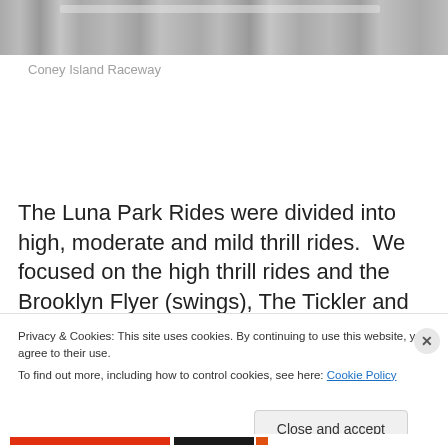[Figure (photo): Partial photo of Coney Island Raceway structure, showing metal/steel track or rail detail in grayscale]
Coney Island Raceway
The Luna Park Rides were divided into high, moderate and mild thrill rides.  We focused on the high thrill rides and the Brooklyn Flyer (swings), The Tickler and Wild River were our favorites.
Privacy & Cookies: This site uses cookies. By continuing to use this website, you agree to their use.
To find out more, including how to control cookies, see here: Cookie Policy
Close and accept